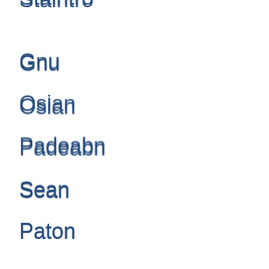Stàintro
Gnu
Osian
Padeabn
Sean
Paton
Pee
Dair
Adair